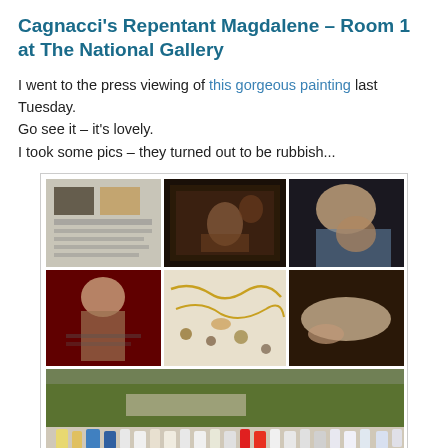Cagnacci's Repentant Magdalene – Room 1 at The National Gallery
I went to the press viewing of this gorgeous painting last Tuesday.
Go see it – it's lovely.
I took some pics – they turned out to be rubbish...
[Figure (photo): A collage of 7 photos arranged in a grid: top row shows a museum wall panel with text and small images, a dark framed painting of a reclining figure, and a detail of figures from a painting. Middle row shows a portrait painting of a semi-nude woman, a close-up of jewellery and objects scattered, and a detail of a foot/leg from a painting. Bottom row shows a wide outdoor photo of candles and cups arranged on a ledge with a garden behind.]